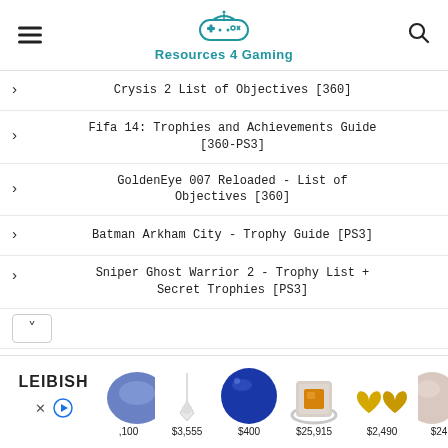Resources 4 Gaming
Crysis 2 List of Objectives [360]
Fifa 14: Trophies and Achievements Guide [360-PS3]
GoldenEye 007 Reloaded - List of Objectives [360]
Batman Arkham City - Trophy Guide [PS3]
Sniper Ghost Warrior 2 - Trophy List + Secret Trophies [PS3]
[Figure (infographic): LEIBISH jewelry advertisement banner showing gemstones and jewelry with prices: ,100, $3,555, $400, $25,915, $2,490, $24+]